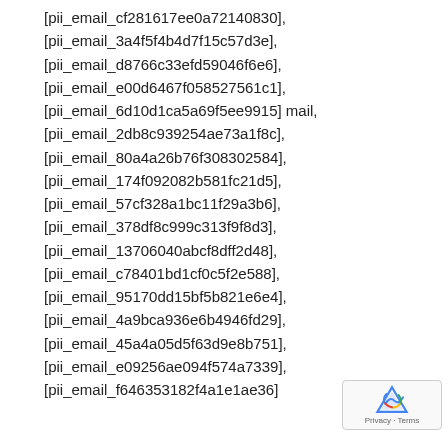[pii_email_cf281617ee0a72140830],
[pii_email_3a4f5f4b4d7f15c57d3e],
[pii_email_d8766c33efd59046f6e6],
[pii_email_e00d6467f058527561c1],
[pii_email_6d10d1ca5a69f5ee9915] mail,
[pii_email_2db8c939254ae73a1f8c],
[pii_email_80a4a26b76f308302584],
[pii_email_174f092082b581fc21d5],
[pii_email_57cf328a1bc11f29a3b6],
[pii_email_378df8c999c313f9f8d3],
[pii_email_13706040abcf8dff2d48],
[pii_email_c78401bd1cf0c5f2e588],
[pii_email_95170dd15bf5b821e6e4],
[pii_email_4a9bca936e6b4946fd29],
[pii_email_45a4a05d5f63d9e8b751],
[pii_email_e09256ae094f574a7339],
[pii_email_f646353182f4a1e1ae36]